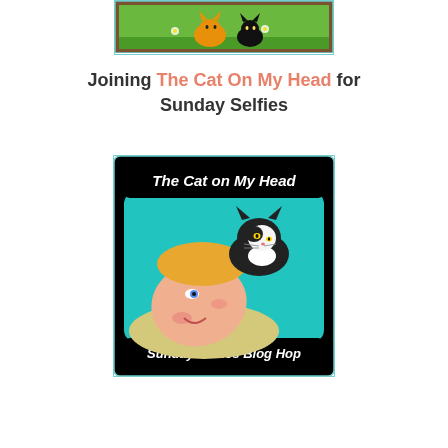[Figure (illustration): Top cropped image showing a game-style illustration with cats on green grass background, partially visible, with a teal border]
Joining The Cat On My Head for Sunday Selfies
[Figure (illustration): The Cat on My Head Sunday Selfies Blog Hop badge: cartoon illustration of a woman lying down with a black and white cat resting on her head, teal background, black rounded rectangle frame, text 'The Cat on My Head' at top and 'Sunday Selfies Blog Hop' at bottom]